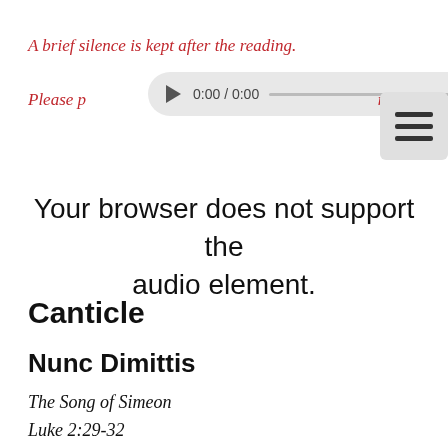A brief silence is kept after the reading.
[Figure (screenshot): Audio player widget showing 0:00 / 0:00 with play button, progress bar, volume icon, and three-dot menu. A hamburger menu button appears to the right.]
Your browser does not support the audio element.
Canticle
Nunc Dimittis
The Song of Simeon
Luke 2:29-32